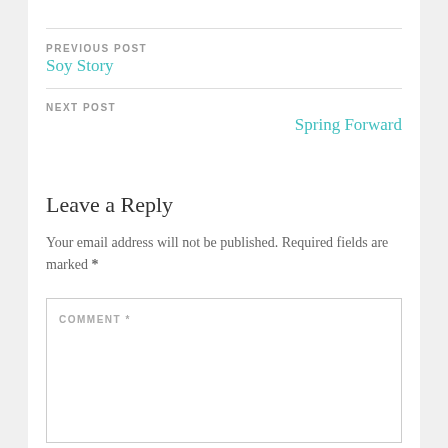PREVIOUS POST
Soy Story
NEXT POST
Spring Forward
Leave a Reply
Your email address will not be published. Required fields are marked *
COMMENT *